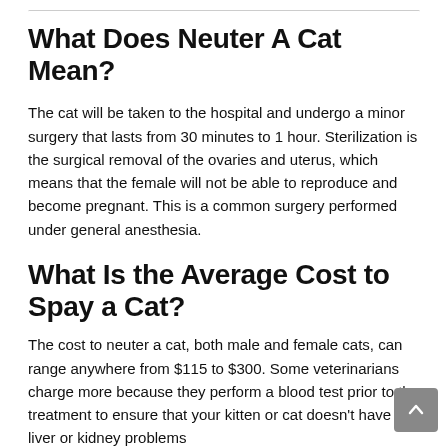What Does Neuter A Cat Mean?
The cat will be taken to the hospital and undergo a minor surgery that lasts from 30 minutes to 1 hour. Sterilization is the surgical removal of the ovaries and uterus, which means that the female will not be able to reproduce and become pregnant. This is a common surgery performed under general anesthesia.
What Is the Average Cost to Spay a Cat?
The cost to neuter a cat, both male and female cats, can range anywhere from $115 to $300. Some veterinarians charge more because they perform a blood test prior to the treatment to ensure that your kitten or cat doesn't have any liver or kidney problems